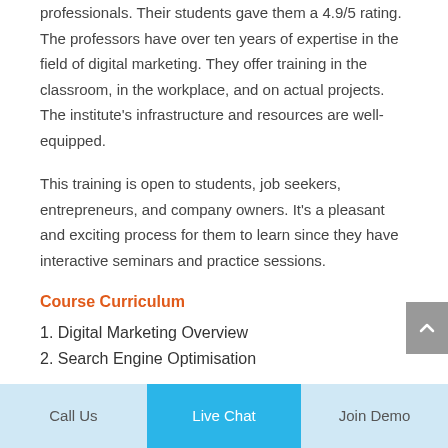professionals. Their students gave them a 4.9/5 rating. The professors have over ten years of expertise in the field of digital marketing. They offer training in the classroom, in the workplace, and on actual projects. The institute's infrastructure and resources are well-equipped.
This training is open to students, job seekers, entrepreneurs, and company owners. It's a pleasant and exciting process for them to learn since they have interactive seminars and practice sessions.
Course Curriculum
1. Digital Marketing Overview
2. Search Engine Optimisation
Call Us  Live Chat  Join Demo